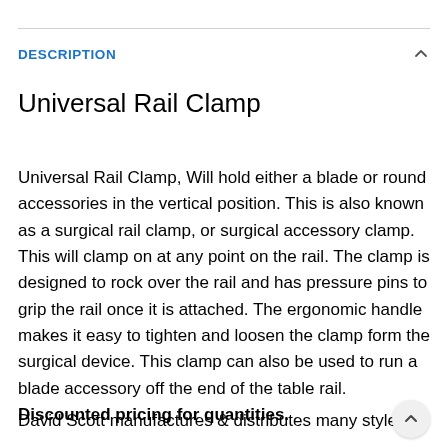DESCRIPTION
Universal Rail Clamp
Universal Rail Clamp, Will hold either a blade or round accessories in the vertical position. This is also known as a surgical rail clamp, or surgical accessory clamp. This will clamp on at any point on the rail. The clamp is designed to rock over the rail and has pressure pins to grip the rail once it is attached. The ergonomic handle makes it easy to tighten and loosen the clamp form the surgical device. This clamp can also be used to run a blade accessory off the end of the table rail. Discounted pricing for quantities.
David Scott manufactures & distributes many style rail